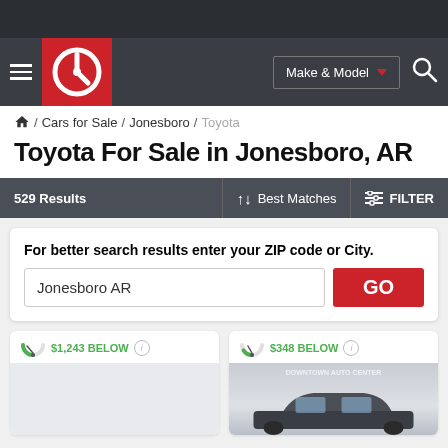[Figure (screenshot): Dark top browser bar]
Cars for Sale / Jonesboro / Toyota — Make & Model navigation header with Carfax-style logo
/ Cars for Sale / Jonesboro / Toyota
Toyota For Sale in Jonesboro, AR
529 Results   ↑↓   Best Matches   FILTER
For better search results enter your ZIP code or City.
Jonesboro AR
$1,243 BELOW
$348 BELOW